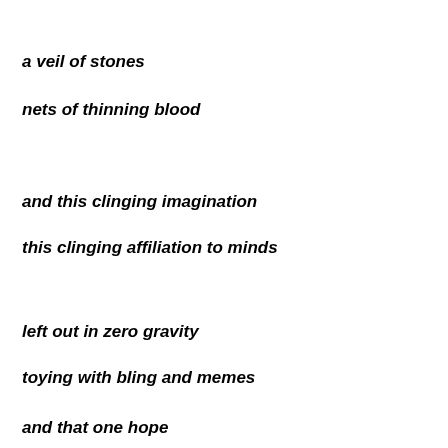a veil of stones
nets of thinning blood
and this clinging imagination
this clinging affiliation to minds
left out in zero gravity
toying with bling and memes
and that one hope